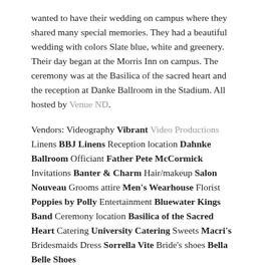wanted to have their wedding on campus where they shared many special memories. They had a beautiful wedding with colors Slate blue, white and greenery. Their day began at the Morris Inn on campus. The ceremony was at the Basilica of the sacred heart and the reception at Danke Ballroom in the Stadium. All hosted by Venue ND.
Vendors: Videography Vibrant Video Productions Linens BBJ Linens Reception location Dahnke Ballroom Officiant Father Pete McCormick Invitations Banter & Charm Hair/makeup Salon Nouveau Grooms attire Men's Wearhouse Florist Poppies by Polly Entertainment Bluewater Kings Band Ceremony location Basilica of the Sacred Heart Catering University Catering Sweets Macri's Bridesmaids Dress Sorrella Vite Bride's shoes Bella Belle Shoes